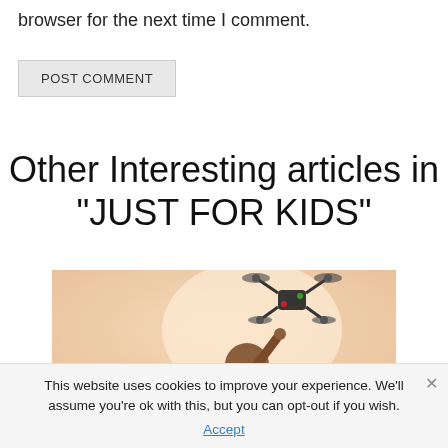browser for the next time I comment.
POST COMMENT
Other Interesting articles in "JUST FOR KIDS"
[Figure (photo): Child wearing sunglasses holding up a drone in the air against a bright warm background]
This website uses cookies to improve your experience. We'll assume you're ok with this, but you can opt-out if you wish. Accept